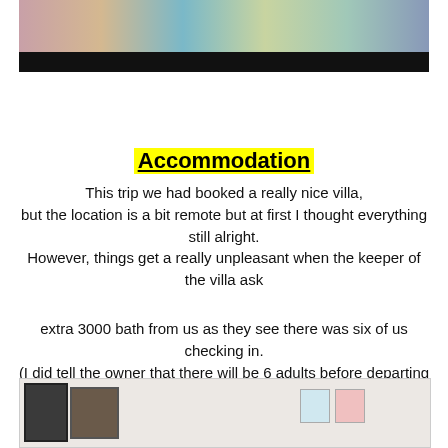[Figure (photo): Top portion of a collage photo showing people and food, with a black bar at the bottom]
Accommodation
This trip we had booked a really nice villa, but the location is a bit remote but at first I thought everything still alright. However, things get a really unpleasant when the keeper of the villa ask
extra 3000 bath from us as they see there was six of us checking in. (I did tell the owner that there will be 6 adults before departing but he did not say anything before we depart and get 3000 baht from usonly when we arrived makes us unpleasant.
[Figure (photo): Interior photo of a room with a dark mirror/TV, framed picture, and wall decorations]